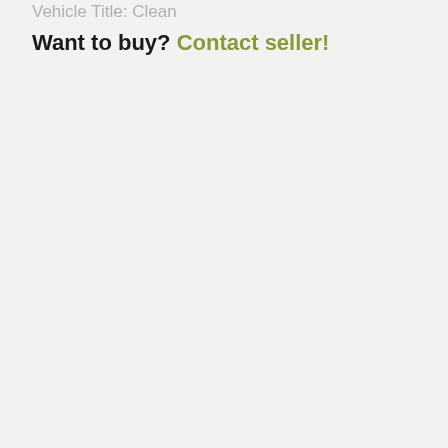Vehicle Title: Clean
Want to buy? Contact seller!